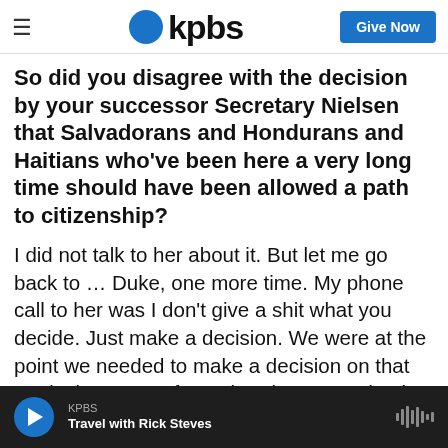KPBS | Give Now
So did you disagree with the decision by your successor Secretary Nielsen that Salvadorans and Hondurans and Haitians who've been here a very long time should have been allowed a path to citizenship?
I did not talk to her about it. But let me go back to ... Duke, one more time. My phone call to her was I don't give a shit what you decide. Just make a decision. We were at the point we needed to make a decision on that particular group of people. She seemed to be incapable of making it. I just called and said I don't care what you do. Just do
KPBS | Travel with Rick Steves